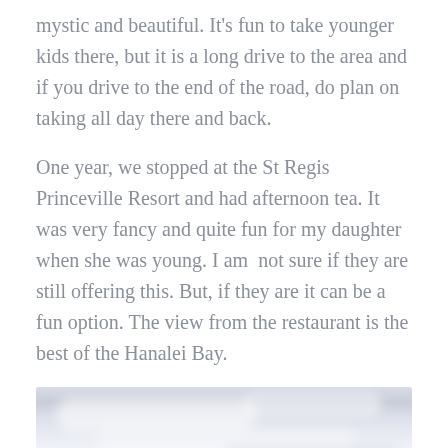mystic and beautiful. It's fun to take younger kids there, but it is a long drive to the area and if you drive to the end of the road, do plan on taking all day there and back.
One year, we stopped at the St Regis Princeville Resort and had afternoon tea. It was very fancy and quite fun for my daughter when she was young. I am  not sure if they are still offering this. But, if they are it can be a fun option. The view from the restaurant is the best of the Hanalei Bay.
[Figure (photo): Partial photo of a sky with soft clouds, light blue-grey tones, cropped at bottom of page]